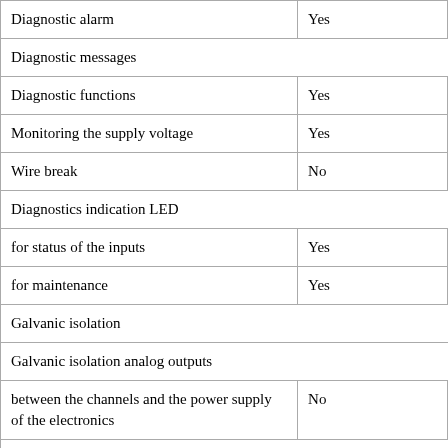| Diagnostic alarm | Yes |
| Diagnostic messages |  |
| Diagnostic functions | Yes |
| Monitoring the supply voltage | Yes |
| Wire break | No |
| Diagnostics indication LED |  |
| for status of the inputs | Yes |
| for maintenance | Yes |
| Galvanic isolation |  |
| Galvanic isolation analog outputs |  |
| between the channels and the power supply of the electronics | No |
| Degree and class of protection |  |
| IP20 | Yes |
| Degree and class of protection (cont.) |  |